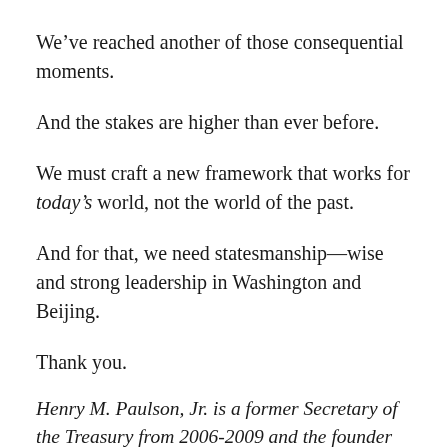We’ve reached another of those consequential moments.
And the stakes are higher than ever before.
We must craft a new framework that works for today’s world, not the world of the past.
And for that, we need statesmanship—wise and strong leadership in Washington and Beijing.
Thank you.
Henry M. Paulson, Jr. is a former Secretary of the Treasury from 2006-2009 and the founder of the Paulson Institute at the University of